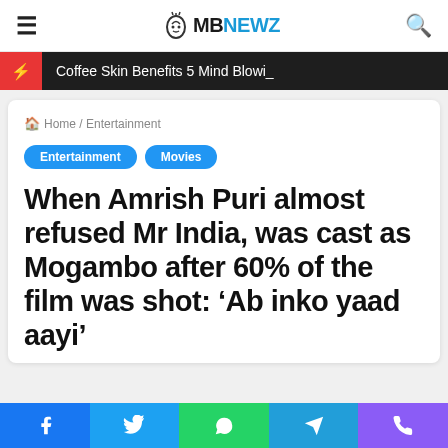MBNewz
Coffee Skin Benefits 5 Mind Blowi_
Home / Entertainment
Entertainment
Movies
When Amrish Puri almost refused Mr India, was cast as Mogambo after 60% of the film was shot: ‘Ab inko yaad aayi’